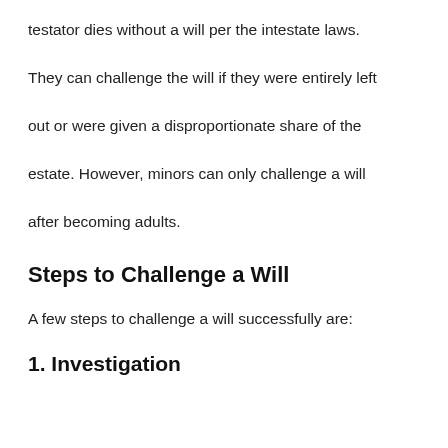testator dies without a will per the intestate laws. They can challenge the will if they were entirely left out or were given a disproportionate share of the estate. However, minors can only challenge a will after becoming adults.
Steps to Challenge a Will
A few steps to challenge a will successfully are:
1. Investigation